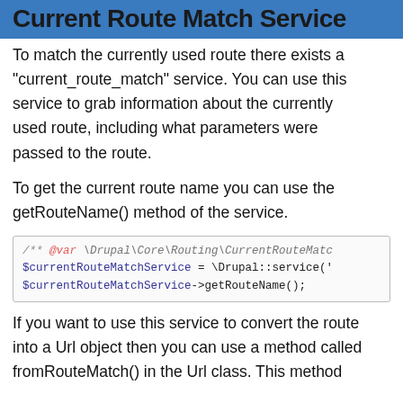Current Route Match Service
To match the currently used route there exists a "current_route_match" service. You can use this service to grab information about the currently used route, including what parameters were passed to the route.
To get the current route name you can use the getRouteName() method of the service.
/** @var \Drupal\Core\Routing\CurrentRouteMatc
$currentRouteMatchService = \Drupal::service('
$currentRouteMatchService->getRouteName();
If you want to use this service to convert the route into a Url object then you can use a method called fromRouteMatch() in the Url class. This method